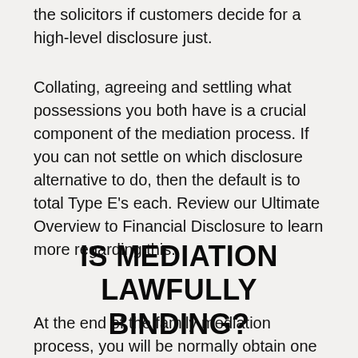the solicitors if customers decide for a high-level disclosure just.
Collating, agreeing and settling what possessions you both have is a crucial component of the mediation process. If you can not settle on which disclosure alternative to do, then the default is to total Type E's each. Review our Ultimate Overview to Financial Disclosure to learn more regarding this.
IS MEDIATION LAWFULLY BINDING?
At the end of the family mediation process, you will be normally obtain one of the complying with documents: